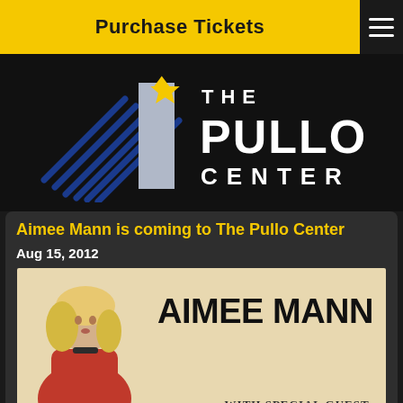Purchase Tickets
[Figure (logo): The Pullo Center logo with blue angled lines and star graphic]
Aimee Mann is coming to The Pullo Center
Aug 15, 2012
[Figure (photo): Aimee Mann promotional concert poster showing blonde woman in red dress with text AIMEE MANN and WITH SPECIAL GUEST: below]